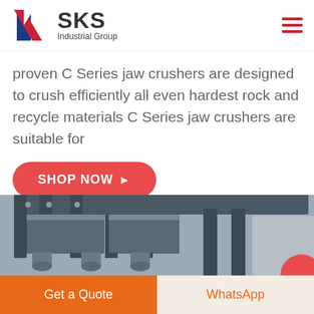[Figure (logo): SKS Industrial Group logo with stylized K in red and blue, brand name SKS in bold gray, subtitle Industrial Group]
proven C Series jaw crushers are designed to crush efficiently all even hardest rock and recycle materials C Series jaw crushers are suitable for
[Figure (other): Red Shop Now button with right arrow]
[Figure (photo): Industrial jaw crusher machine parts showing heavy steel frame components in dark gray/blue color]
[Figure (other): Bottom navigation bar with orange Get a Quote button on left and WhatsApp button on right with light orange background]